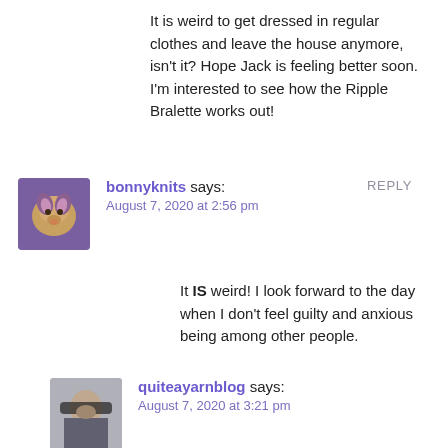It is weird to get dressed in regular clothes and leave the house anymore, isn't it? Hope Jack is feeling better soon. I'm interested to see how the Ripple Bralette works out!
REPLY
bonnyknits says:
August 7, 2020 at 2:56 pm
It IS weird! I look forward to the day when I don't feel guilty and anxious being among other people.
quiteayarnblog says:
August 7, 2020 at 3:21 pm